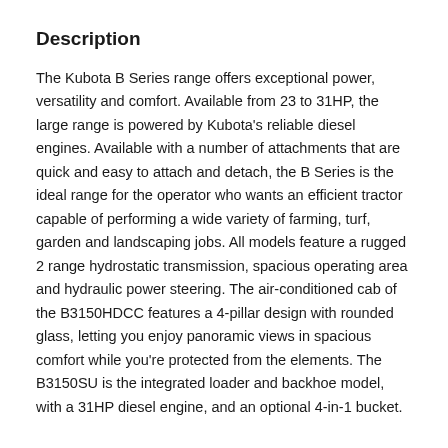Description
The Kubota B Series range offers exceptional power, versatility and comfort. Available from 23 to 31HP, the large range is powered by Kubota's reliable diesel engines. Available with a number of attachments that are quick and easy to attach and detach, the B Series is the ideal range for the operator who wants an efficient tractor capable of performing a wide variety of farming, turf, garden and landscaping jobs. All models feature a rugged 2 range hydrostatic transmission, spacious operating area and hydraulic power steering. The air-conditioned cab of the B3150HDCC features a 4-pillar design with rounded glass, letting you enjoy panoramic views in spacious comfort while you're protected from the elements. The B3150SU is the integrated loader and backhoe model, with a 31HP diesel engine, and an optional 4-in-1 bucket.